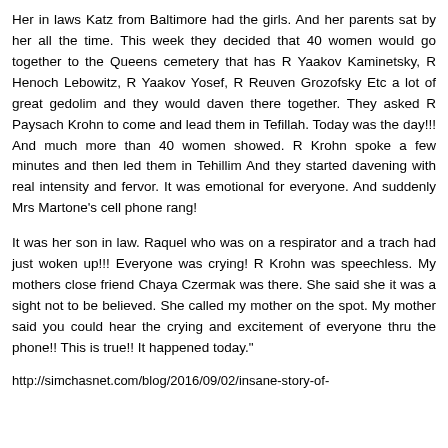Her in laws Katz from Baltimore had the girls. And her parents sat by her all the time. This week they decided that 40 women would go together to the Queens cemetery that has R Yaakov Kaminetsky, R Henoch Lebowitz, R Yaakov Yosef, R Reuven Grozofsky Etc a lot of great gedolim and they would daven there together. They asked R Paysach Krohn to come and lead them in Tefillah. Today was the day!!! And much more than 40 women showed. R Krohn spoke a few minutes and then led them in Tehillim And they started davening with real intensity and fervor. It was emotional for everyone. And suddenly Mrs Martone's cell phone rang!
It was her son in law. Raquel who was on a respirator and a trach had just woken up!!! Everyone was crying! R Krohn was speechless. My mothers close friend Chaya Czermak was there. She said she it was a sight not to be believed. She called my mother on the spot. My mother said you could hear the crying and excitement of everyone thru the phone!! This is true!! It happened today."
http://simchasnet.com/blog/2016/09/02/insane-story-of-